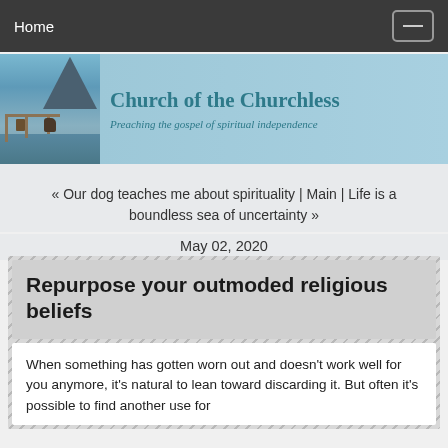Home
[Figure (illustration): Church of the Churchless website banner showing a lake/dock scene with a dog, mountains in background, teal text reading 'Church of the Churchless' and italic subtitle 'Preaching the gospel of spiritual independence']
« Our dog teaches me about spirituality | Main | Life is a boundless sea of uncertainty »
May 02, 2020
Repurpose your outmoded religious beliefs
When something has gotten worn out and doesn't work well for you anymore, it's natural to lean toward discarding it. But often it's possible to find another use for